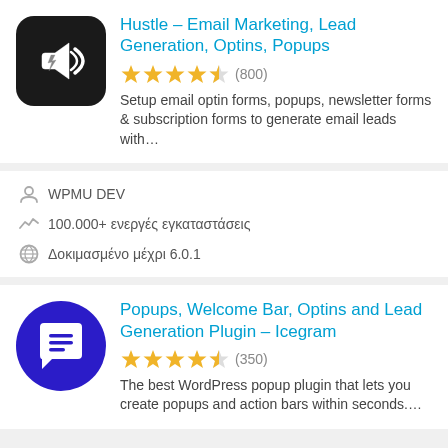Hustle – Email Marketing, Lead Generation, Optins, Popups
Setup email optin forms, popups, newsletter forms & subscription forms to generate email leads with…
WPMU DEV
100.000+ ενεργές εγκαταστάσεις
Δοκιμασμένο μέχρι 6.0.1
Popups, Welcome Bar, Optins and Lead Generation Plugin – Icegram
The best WordPress popup plugin that lets you create popups and action bars within seconds....